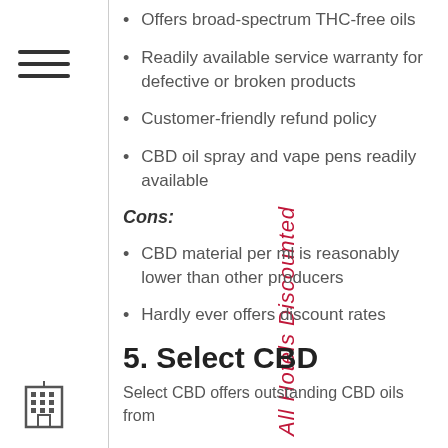Offers broad-spectrum THC-free oils
Readily available service warranty for defective or broken products
Customer-friendly refund policy
CBD oil spray and vape pens readily available
Cons:
CBD material per ml is reasonably lower than other producers
Hardly ever offers discount rates
5. Select CBD
Select CBD offers outstanding CBD oils from